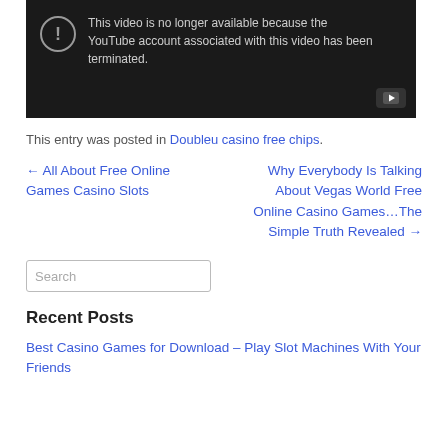[Figure (screenshot): YouTube video unavailable message on dark background. Shows an exclamation icon and text: 'This video is no longer available because the YouTube account associated with this video has been terminated.' A YouTube button is in the bottom right corner.]
This entry was posted in Doubleu casino free chips.
← All About Free Online Games Casino Slots
Why Everybody Is Talking About Vegas World Free Online Casino Games…The Simple Truth Revealed →
Search
Recent Posts
Best Casino Games for Download – Play Slot Machines With Your Friends